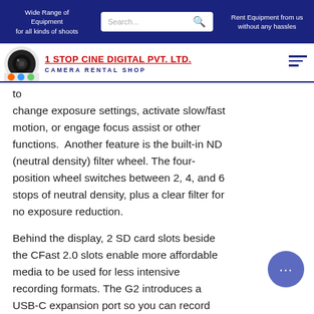Wide Range of Equipment for all kinds of shoots | Search... | Rent Equipment from us without any hassles
[Figure (logo): 1 Stop Cine Digital Pvt. Ltd. camera rental shop logo with circular camera lens icon]
to change exposure settings, activate slow/fast motion, or engage focus assist or other functions.  Another feature is the built-in ND (neutral density) filter wheel. The four-position wheel switches between 2, 4, and 6 stops of neutral density, plus a clear filter for no exposure reduction.
Behind the display, 2 SD card slots beside the CFast 2.0 slots enable more affordable media to be used for less intensive recording formats. The G2 introduces a USB-C expansion port so you can record directly to external drives.  The default electronic EF lens mount is user-interchangeable and adjustable to ensure proper flange focal distance...